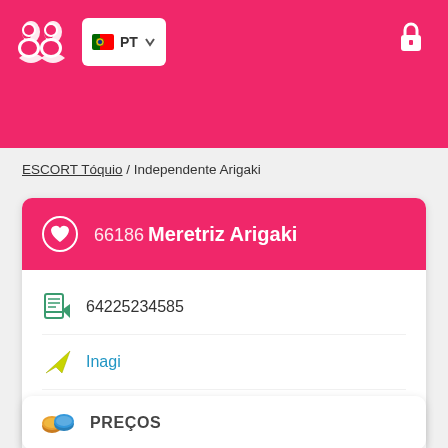[Figure (screenshot): Pink app header bar with white logo (two person silhouettes), PT language selector button with Portuguese flag, and lock icon on the right]
ESCORT Tóquio / Independente Arigaki
66186 Meretriz Arigaki
64225234585
Inagi
Toritsu-kasei
PREÇOS